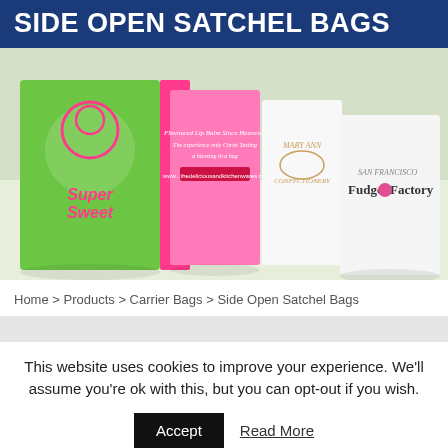SIDE OPEN SATCHEL BAGS
[Figure (photo): Photo of several branded paper satchel bags on a white surface. Bags include a colorful green and pink 'Super Sweet' bag, a pink bag with handwritten text, a 'Mary Ann Confectionery' white bag, and a 'Fudge Factory San Francisco' white bag.]
Home > Products > Carrier Bags > Side Open Satchel Bags
This website uses cookies to improve your experience. We'll assume you're ok with this, but you can opt-out if you wish.
Accept
Read More